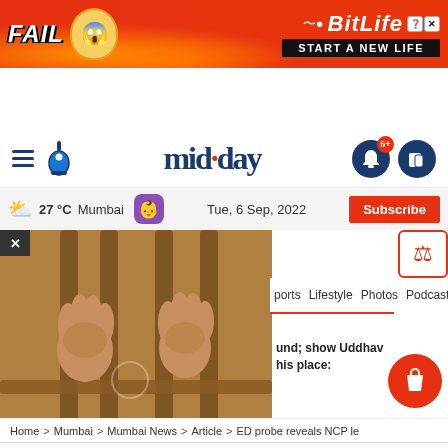[Figure (other): BitLife advertisement banner with 'FAIL' text, cartoon character, and 'START A NEW LIFE' tagline on red background]
mid·day — 27°C Mumbai | Tue, 6 Sep, 2022 | Subscribe
[Figure (photo): Photo of hands gripping prison bars]
ports  Lifestyle  Photos  Podcast  Ti
und; show Uddhav his place:
Home > Mumbai > Mumbai News > Article > ED probe reveals NCP le
This website uses cookie or similar technologies, to enhance your